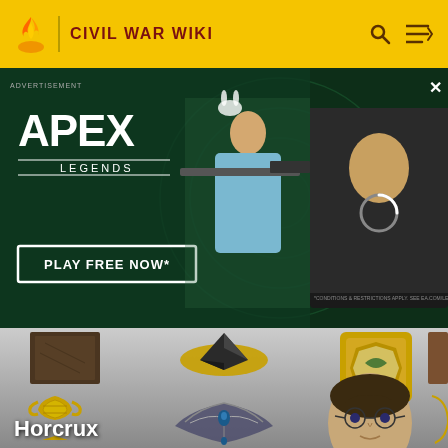CIVIL WAR WIKI
[Figure (screenshot): Apex Legends advertisement banner with character holding sniper rifle, 'PLAY FREE NOW' button, green background with swirl effects. Second panel shows character close-up with loading spinner. 'ADVERTISEMENT' label at top left, X close button at top right.]
[Figure (screenshot): Horcrux wiki page content showing various Harry Potter horcrux items: a dark leather item, a black diamond ring, an ornate medallion/locket, a golden trophy/cup (Hufflepuff's cup), Ravenclaw's diadem brooch, Harry Potter's face, and partial views of other items. 'Horcrux' title text in white at bottom left.]
Horcrux